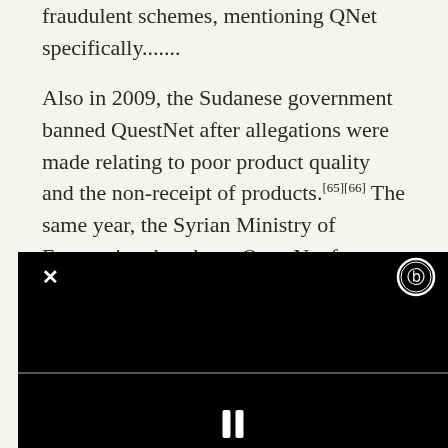fraudulent schemes, mentioning QNet specifically.......
Also in 2009, the Sudanese government banned QuestNet after allegations were made relating to poor product quality and the non-receipt of products.[65][66] The same year, the Syrian Ministry of Economics shut down QuestNet for violating its commercial registration, stating that the company had operated a pyramid scheme in Syria and withdrawn billions of Syr[obscured by video overlay] country, while[obscured] The Rwandan[obscured] Finance banne[obscured] violations of company and tax laws after